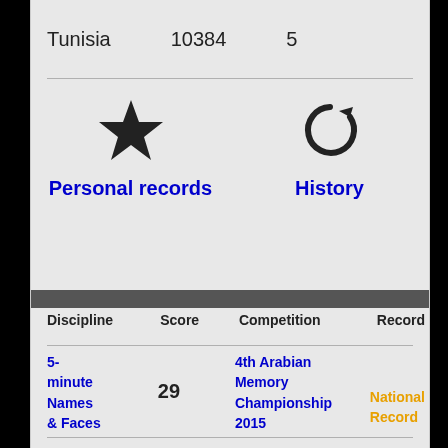Tunisia   10384   5
[Figure (illustration): Star icon (Personal records) and history/refresh icon (History), with blue labels below each]
| Discipline | Score | Competition | Record |
| --- | --- | --- | --- |
| 5-minute Names & Faces | 29 | 4th Arabian Memory Championship 2015 | National Record |